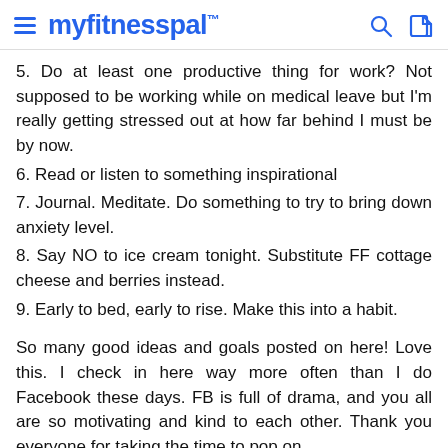myfitnesspal
5. Do at least one productive thing for work? Not supposed to be working while on medical leave but I'm really getting stressed out at how far behind I must be by now.
6. Read or listen to something inspirational
7. Journal. Meditate. Do something to try to bring down anxiety level.
8. Say NO to ice cream tonight. Substitute FF cottage cheese and berries instead.
9. Early to bed, early to rise. Make this into a habit.
So many good ideas and goals posted on here! Love this. I check in here way more often than I do Facebook these days. FB is full of drama, and you all are so motivating and kind to each other. Thank you everyone for taking the time to pop on